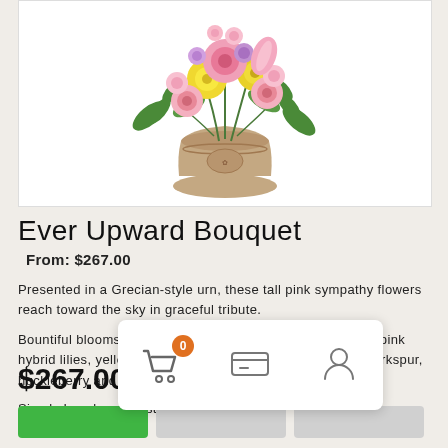[Figure (photo): Floral bouquet in a Grecian-style urn with pink roses, yellow dahlias, and mixed flowers on white background]
Ever Upward Bouquet
From: $267.00
Presented in a Grecian-style urn, these tall pink sympathy flowers reach toward the sky in graceful tribute.
Bountiful blooms such as hot pink roses, pink spray roses, pink hybrid lilies, yellow dahlias, pink gladioli, pink and purple larkspur, huckleberry and parviflora eucalyptus.
Simply Lovely – Our standa...
$267.00